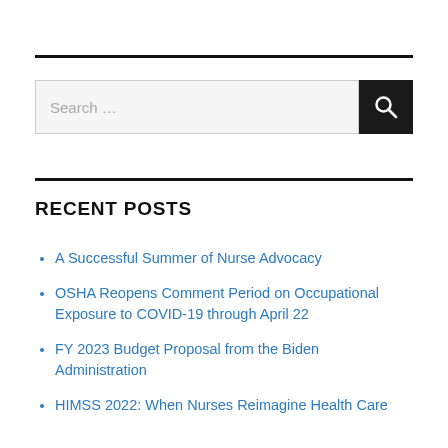[Figure (other): Search bar with text input field and dark search button with magnifying glass icon]
RECENT POSTS
A Successful Summer of Nurse Advocacy
OSHA Reopens Comment Period on Occupational Exposure to COVID-19 through April 22
FY 2023 Budget Proposal from the Biden Administration
HIMSS 2022: When Nurses Reimagine Health Care